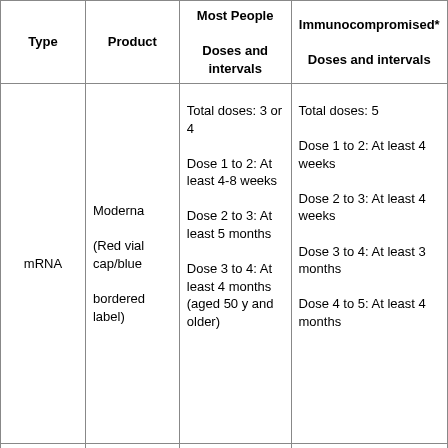| Type | Product | Most People
Doses and intervals | Immunocompromised*
Doses and intervals |
| --- | --- | --- | --- |
| mRNA | Moderna
(Red vial cap/blue bordered label) | Total doses: 3 or 4

Dose 1 to 2: At least 4-8 weeks

Dose 2 to 3: At least 5 months

Dose 3 to 4: At least 4 months (aged 50 y and older) | Total doses: 5

Dose 1 to 2: At least 4 weeks

Dose 2 to 3: At least 4 weeks

Dose 3 to 4: At least 3 months

Dose 4 to 5: At least 4 months |
|  |  |  |  |